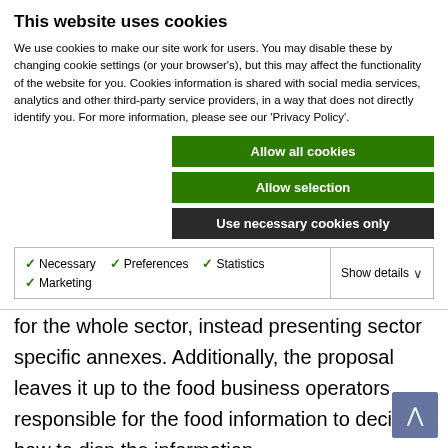This website uses cookies
We use cookies to make our site work for users. You may disable these by changing cookie settings (or your browser's), but this may affect the functionality of the website for you. Cookies information is shared with social media services, analytics and other third-party service providers, in a way that does not directly identify you. For more information, please see our 'Privacy Policy'.
Allow all cookies
Allow selection
Use necessary cookies only
Necessary  Preferences  Statistics  Marketing  Show details
Industry failed to produce a uniform approach for the whole sector, instead presenting sector specific annexes. Additionally, the proposal leaves it up to the food business operators responsible for the food information to decide how to disp the information.